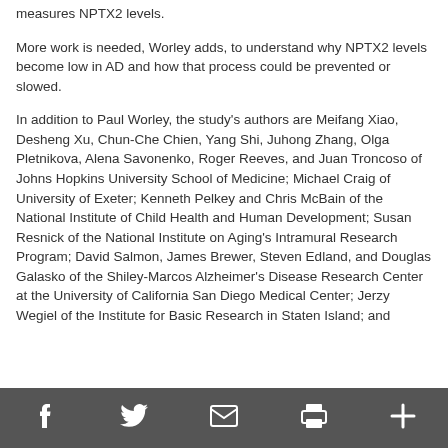measures NPTX2 levels.
More work is needed, Worley adds, to understand why NPTX2 levels become low in AD and how that process could be prevented or slowed.
In addition to Paul Worley, the study's authors are Meifang Xiao, Desheng Xu, Chun-Che Chien, Yang Shi, Juhong Zhang, Olga Pletnikova, Alena Savonenko, Roger Reeves, and Juan Troncoso of Johns Hopkins University School of Medicine; Michael Craig of University of Exeter; Kenneth Pelkey and Chris McBain of the National Institute of Child Health and Human Development; Susan Resnick of the National Institute on Aging's Intramural Research Program; David Salmon, James Brewer, Steven Edland, and Douglas Galasko of the Shiley-Marcos Alzheimer's Disease Research Center at the University of California San Diego Medical Center; Jerzy Wegiel of the Institute for Basic Research in Staten Island; and
Social share icons: Facebook, Twitter, Email, Print, More